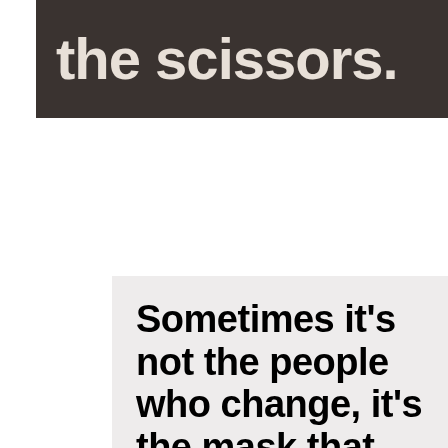[Figure (illustration): Dark brown/charcoal banner with white bold text reading 'the scissors.' — partial text visible, appears to be the end of a sentence]
[Figure (illustration): Light gray quote card with bold black text reading: 'Sometimes it's not the people who change, it's the mask that falls off.']